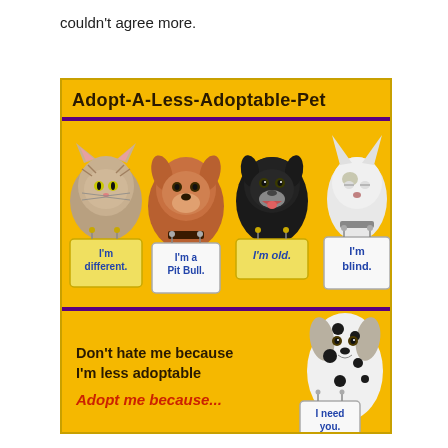couldn't agree more.
[Figure (infographic): Adopt-A-Less-Adoptable-Pet infographic showing four animals (cat, pit bull, black dog, blind dog) in the top half each wearing signs reading 'I'm different.', 'I'm a Pit Bull.', 'I'm old.', 'I'm blind.' and a dalmatian in the bottom half wearing a sign reading 'I need you.' with text 'Don't hate me because I'm less adoptable / Adopt me because...' on a yellow background with purple border accents.]